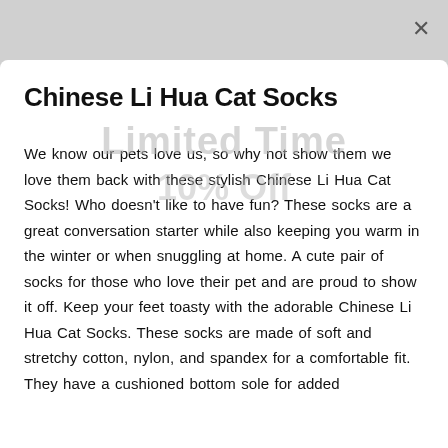Chinese Li Hua Cat Socks
[Figure (infographic): Limited Time 10% Off promotional overlay text in light gray, displayed over the modal content]
We know our pets love us, so why not show them we love them back with these stylish Chinese Li Hua Cat Socks! Who doesn't like to have fun? These socks are a great conversation starter while also keeping you warm in the winter or when snuggling at home. A cute pair of socks for those who love their pet and are proud to show it off. Keep your feet toasty with the adorable Chinese Li Hua Cat Socks. These socks are made of soft and stretchy cotton, nylon, and spandex for a comfortable fit. They have a cushioned bottom sole for added